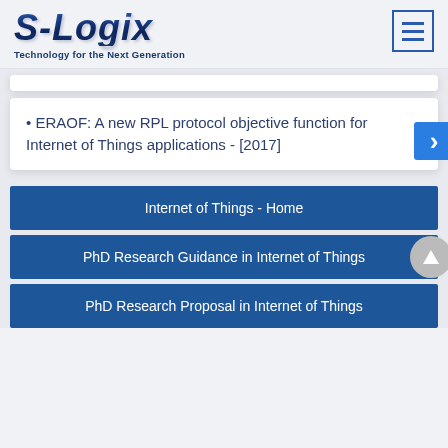S-Logix — Technology for the Next Generation
ERAOF: A new RPL protocol objective function for Internet of Things applications - [2017]
Internet of Things - Home
PhD Research Guidance in Internet of Things
PhD Research Proposal in Internet of Things